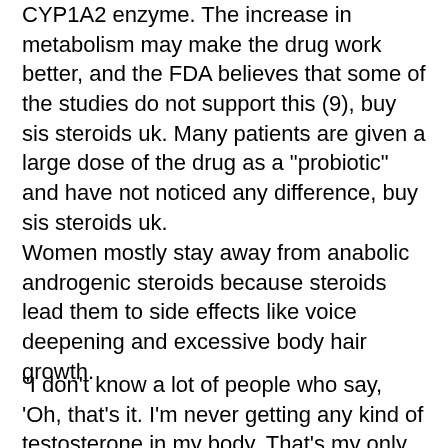CYP1A2 enzyme. The increase in metabolism may make the drug work better, and the FDA believes that some of the studies do not support this (9), buy sis steroids uk. Many patients are given a large dose of the drug as a "probiotic" and have not noticed any difference, buy sis steroids uk.
Women mostly stay away from anabolic androgenic steroids because steroids lead them to side effects like voice deepening and excessive body hair growth.
"I don't know a lot of people who say, 'Oh, that's it. I'm never getting any kind of testosterone in my body. That's my only motivation to get steroids, my primary motivation,' " said Richard Acker, the director of steroid education at the International Association of Athletics Federations. "You